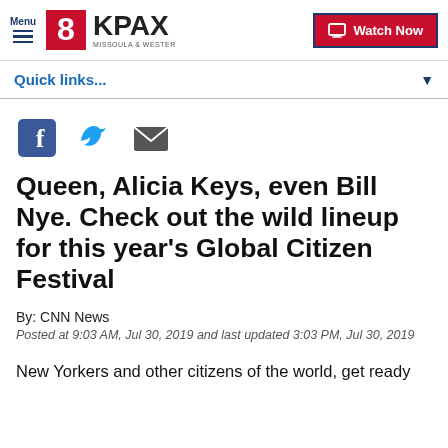8KPAX MISSOULA & WESTERN MONTANA — Watch Now
Quick links...
[Figure (infographic): Social sharing icons: Facebook, Twitter, Email]
Queen, Alicia Keys, even Bill Nye. Check out the wild lineup for this year's Global Citizen Festival
By: CNN News
Posted at 9:03 AM, Jul 30, 2019 and last updated 3:03 PM, Jul 30, 2019
New Yorkers and other citizens of the world, get ready